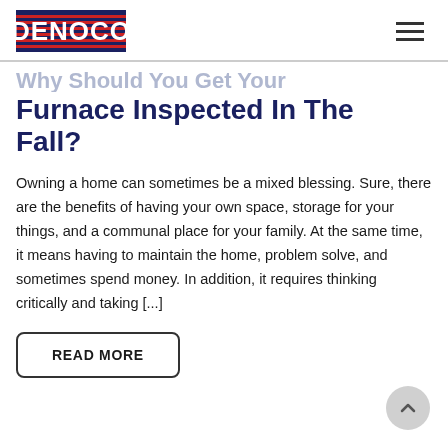[Figure (logo): DENOCO company logo with red and blue horizontal stripes background and bold white text]
Why Should You Get Your Furnace Inspected In The Fall?
Owning a home can sometimes be a mixed blessing. Sure, there are the benefits of having your own space, storage for your things, and a communal place for your family. At the same time, it means having to maintain the home, problem solve, and sometimes spend money. In addition, it requires thinking critically and taking [...]
READ MORE